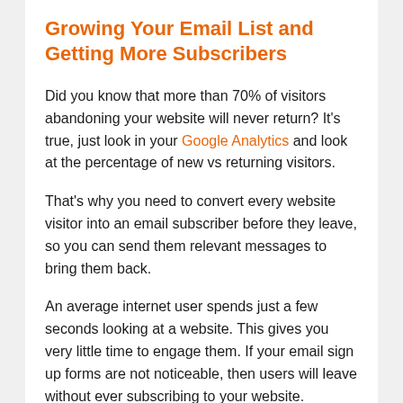Growing Your Email List and Getting More Subscribers
Did you know that more than 70% of visitors abandoning your website will never return? It's true, just look in your Google Analytics and look at the percentage of new vs returning visitors.
That's why you need to convert every website visitor into an email subscriber before they leave, so you can send them relevant messages to bring them back.
An average internet user spends just a few seconds looking at a website. This gives you very little time to engage them. If your email sign up forms are not noticeable, then users will leave without ever subscribing to your website.